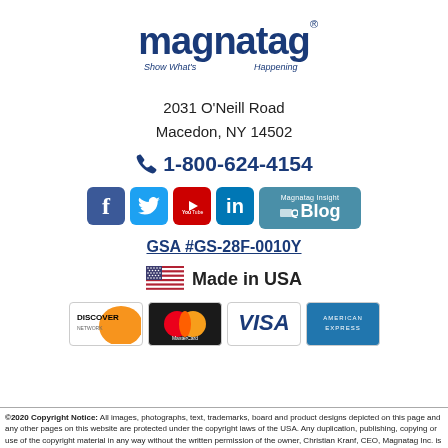[Figure (logo): Magnatag logo with tagline 'Show What's Happening']
2031 O'Neill Road
Macedon, NY 14502
☎ 1-800-624-4154
[Figure (infographic): Social media icons: Facebook, Twitter, YouTube, LinkedIn, Magnatag Insight Blog]
GSA #GS-28F-0010Y
[Figure (illustration): US flag with 'Made in USA' text]
[Figure (infographic): Payment method logos: Discover, MasterCard, Visa, American Express]
©2020 Copyright Notice: All images, photographs, text, trademarks, board and product designs depicted on this page and any other pages on this website are protected under the copyright laws of the USA. Any duplication, publishing, copying or use of the copyright material in any way without the written permission of the owner, Christian Kranf, CEO, Magnatag Inc. is prohibited. Violators will be